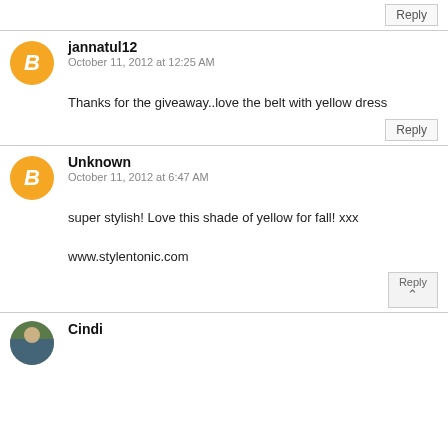Reply
jannatul12
October 11, 2012 at 12:25 AM
Thanks for the giveaway..love the belt with yellow dress
Reply
Unknown
October 11, 2012 at 6:47 AM
super stylish! Love this shade of yellow for fall! xxx

www.stylentonic.com
Reply
Cindi